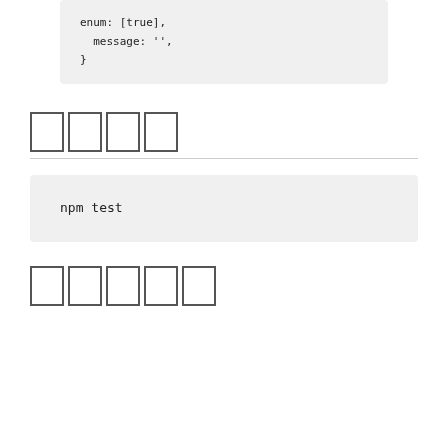enum: [true],
  message: '',
}
テスト
npm test
ライセンス